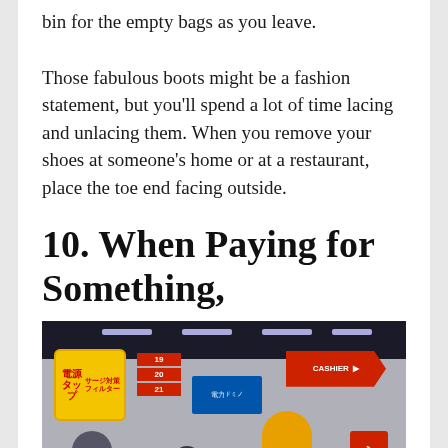bin for the empty bags as you leave.
Those fabulous boots might be a fashion statement, but you'll spend a lot of time lacing and unlacing them. When you remove your shoes at someone's home or at a restaurant, place the toe end facing outside.
10. When Paying for Something,
[Figure (photo): A busy Japanese electronics or retail store interior showing colorful promotional signs in Japanese (including 電源タップ on a yellow sign and 入口 entry sign), a red arrow CASHIER sign, fluorescent ceiling lights, blue signage, and customers/shoppers visible near checkout counters. One person in a yellow jacket is prominent.]